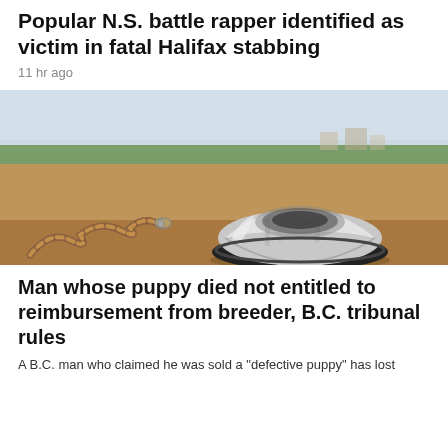Popular N.S. battle rapper identified as victim in fatal Halifax stabbing
11 hr ago
[Figure (photo): A silver metallic dog bowl and a patterned dog leash resting on a reddish-brown surface, with green trees and buildings visible in the blurred background under a hazy sky.]
Man whose puppy died not entitled to reimbursement from breeder, B.C. tribunal rules
A B.C. man who claimed he was sold a "defective puppy" has lost